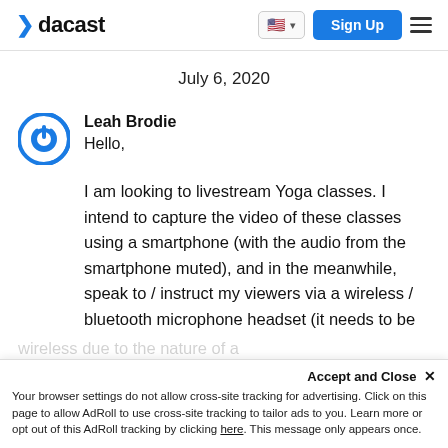dacast
July 6, 2020
Leah Brodie
Hello,
I am looking to livestream Yoga classes. I intend to capture the video of these classes using a smartphone (with the audio from the smartphone muted), and in the meanwhile, speak to / instruct my viewers via a wireless / bluetooth microphone headset (it needs to be wireless due to the nature of a Yoga class - no wires etc.) Finally, I also want to have
Accept and Close ×
Your browser settings do not allow cross-site tracking for advertising. Click on this page to allow AdRoll to use cross-site tracking to tailor ads to you. Learn more or opt out of this AdRoll tracking by clicking here. This message only appears once.